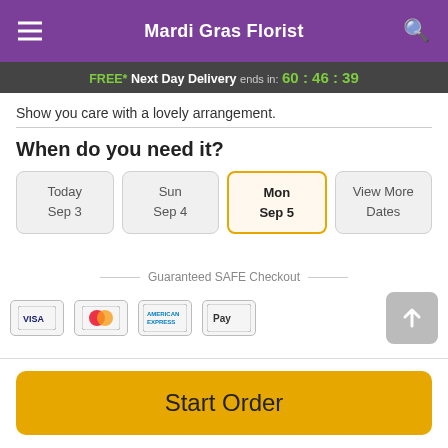Mardi Gras Florist
FREE* Next Day Delivery ends in: 60:46:39
Show you care with a lovely arrangement.
When do you need it?
Today Sep 3
Sun Sep 4
Mon Sep 5
View More Dates
Guaranteed SAFE Checkout
Start Order